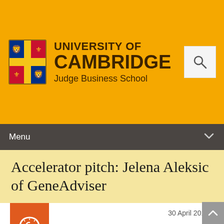[Figure (logo): University of Cambridge Judge Business School logo with crest and text on golden yellow header background]
Menu
Accelerator pitch: Jelena Aleksic of GeneAdviser
30 April 2015
Can you pitch your genius business idea in the time it takes to get from the